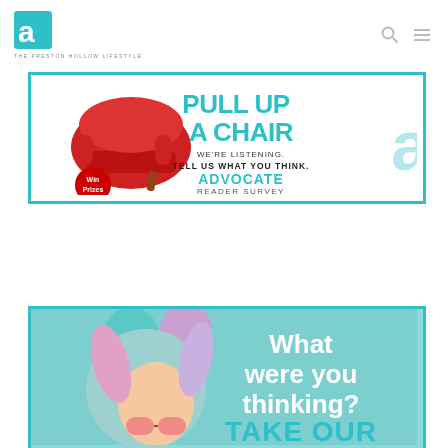[Figure (logo): Advocate magazine logo — teal 'a' mark with tagline 'THE PRESTON HOLLOW LIFESTYLE']
[Figure (infographic): Advocate Reader Survey ad banner: red armchair illustration, text 'PULL UP A CHAIR', 'WE'RE LISTENING. TELL US WHAT YOU THINK.', 'ADVOCATE READER SURVEY', 'Win Prizes' badge, teal 'a' logo watermark]
[Figure (infographic): Second survey ad banner: girl with colorful hair and sunglasses on teal background, text 'What were you thinking? TAKE OUR']